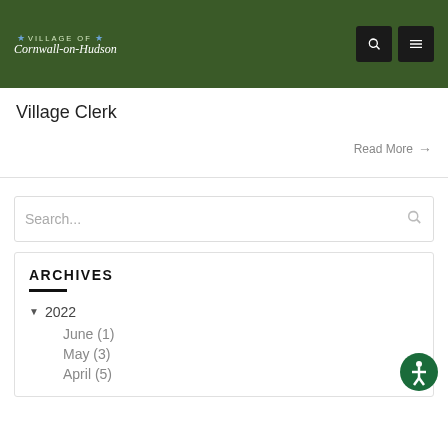Village of Cornwall-on-Hudson
Village Clerk
Read More →
Search...
ARCHIVES
2022
June (1)
May (3)
April (5)